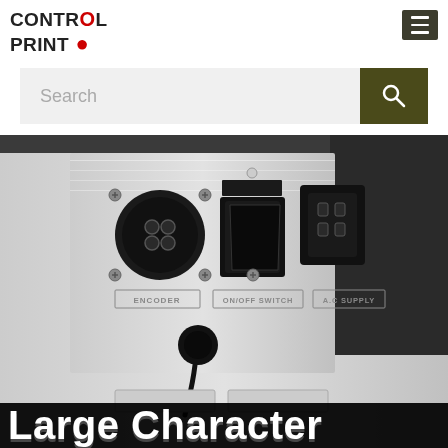[Figure (logo): Control Print logo with red dot accent]
[Figure (other): Hamburger menu icon]
Search
[Figure (photo): Back panel of a large character inkjet printer showing ENCODER connector, ON/OFF SWITCH, and A.C SUPPLY connectors on a brushed metal panel]
Large Character